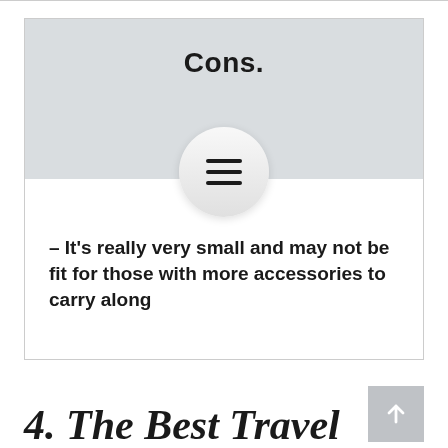Cons.
[Figure (illustration): A circular button with a hamburger menu icon (three horizontal lines) centered on the card boundary between the grey header and white body area.]
– It's really very small and may not be fit for those with more accessories to carry along
4. The Best Travel